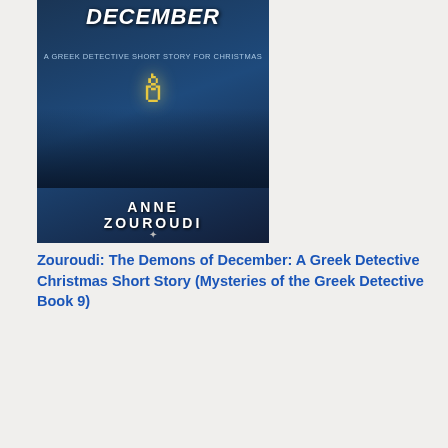[Figure (illustration): Book cover: The Demons of December by Anne Zouroudi. Dark blue winter night scene with a glowing street lamp and Christmas decorations. Title in large italic white text, author name at bottom in white.]
Zouroudi: The Demons of December: A Greek Detective Christmas Short Story (Mysteries of the Greek Detective Book 9)
[Figure (illustration): Book cover: Ian Rankin: In a House of Lies. Dark black cover with author name in white, title in large red letters. A walking figure silhouette at bottom left, green circular badge at bottom right.]
Ian Rankin: In a House of Lies
[Figure (illustration): Book cover: Claire Harman. Red cover with building illustration.]
Claire Harman:
as
he
fee
a
ma
sho
not
spo
off
his
wife
and
who
will
not
con
suc
a
con
tra
The
lov
ear